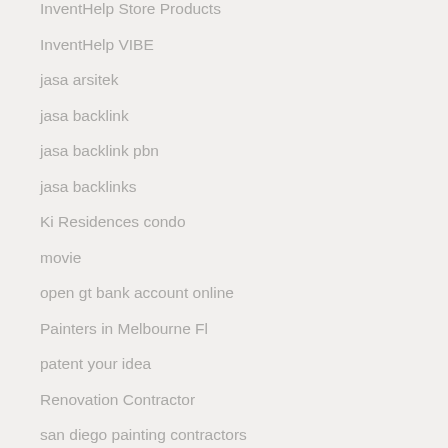InventHelp Store Products
InventHelp VIBE
jasa arsitek
jasa backlink
jasa backlink pbn
jasa backlinks
Ki Residences condo
movie
open gt bank account online
Painters in Melbourne Fl
patent your idea
Renovation Contractor
san diego painting contractors
Save The Date Cards
security bank eastwood branch
Sewa hiace bandung
souvenir pernikahan
spandek
toch